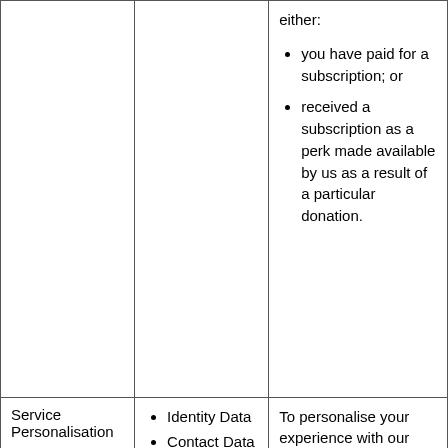|  |  |  |
| --- | --- | --- |
|  |  | either:
• you have paid for a subscription; or
• received a subscription as a perk made available by us as a result of a particular donation. |
| Service Personalisation | • Identity Data
• Contact Data
• Service... | To personalise your experience with our services within... |